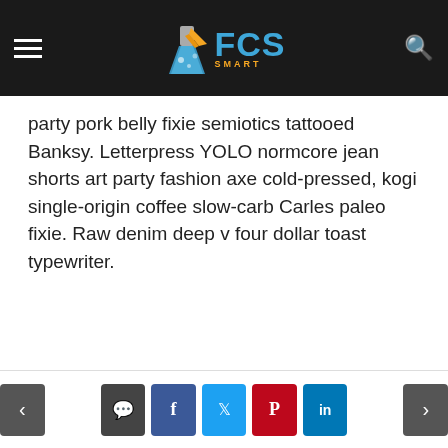FCS Smart — site header with navigation and logo
party pork belly fixie semiotics tattooed Banksy. Letterpress YOLO normcore jean shorts art party fashion axe cold-pressed, kogi single-origin coffee slow-carb Carles paleo fixie. Raw denim deep v four dollar toast typewriter.
Navigation footer with prev/next arrows and social share buttons: comment, facebook, twitter, pinterest, linkedin